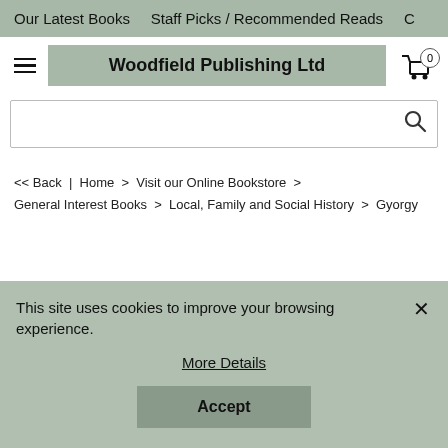Our Latest Books   Staff Picks / Recommended Reads
Woodfield Publishing Ltd
<< Back | Home > Visit our Online Bookstore > General Interest Books > Local, Family and Social History > Gyorgy
This site uses cookies to improve your browsing experience.
More Details
Accept